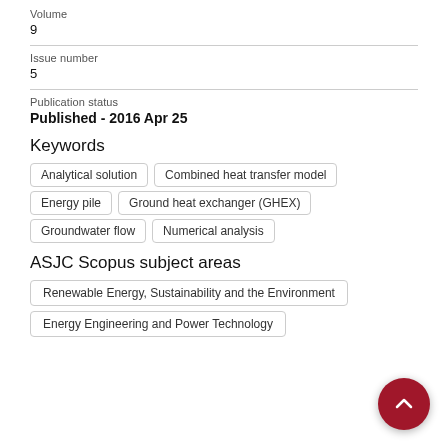Volume
9
Issue number
5
Publication status
Published - 2016 Apr 25
Keywords
Analytical solution
Combined heat transfer model
Energy pile
Ground heat exchanger (GHEX)
Groundwater flow
Numerical analysis
ASJC Scopus subject areas
Renewable Energy, Sustainability and the Environment
Energy Engineering and Power Technology